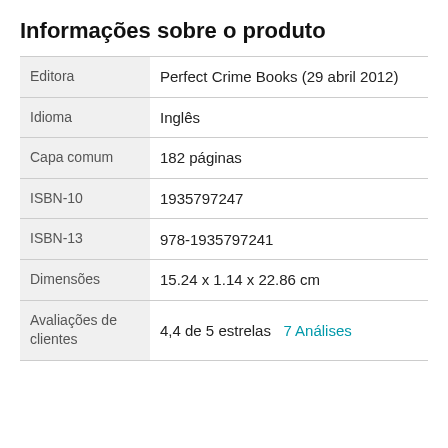Informações sobre o produto
|  |  |
| --- | --- |
| Editora | Perfect Crime Books (29 abril 2012) |
| Idioma | Inglês |
| Capa comum | 182 páginas |
| ISBN-10 | 1935797247 |
| ISBN-13 | 978-1935797241 |
| Dimensões | 15.24 x 1.14 x 22.86 cm |
| Avaliações de clientes | 4,4 de 5 estrelas  7 Análises |